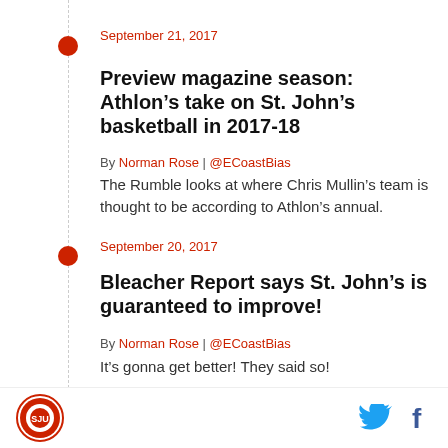September 21, 2017
Preview magazine season: Athlon’s take on St. John’s basketball in 2017-18
By Norman Rose | @ECoastBias
The Rumble looks at where Chris Mullin’s team is thought to be according to Athlon’s annual.
September 20, 2017
Bleacher Report says St. John’s is guaranteed to improve!
By Norman Rose | @ECoastBias
It’s gonna get better! They said so!
September 20, 2017